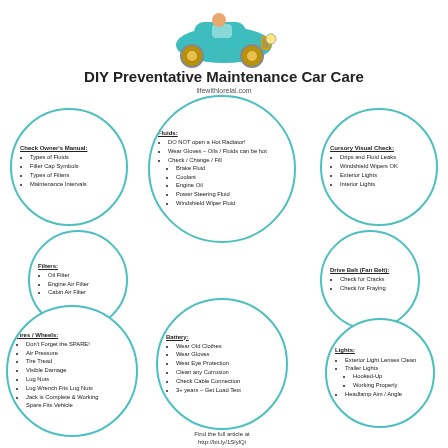[Figure (illustration): Cartoon blue vintage toy car illustration at top of page]
DIY Preventative Maintenance Car Care
lifewithlorelai.com
[Figure (infographic): Seven circles arranged on the page, each containing car maintenance checklist items: Check Owner's Manual, Fluids, Cursory Visual Check, Filters, Drive Belt (Fan Belt), Tires/Wheels, Battery, Lights]
Find the full article at http://bit.ly/1SlylQi